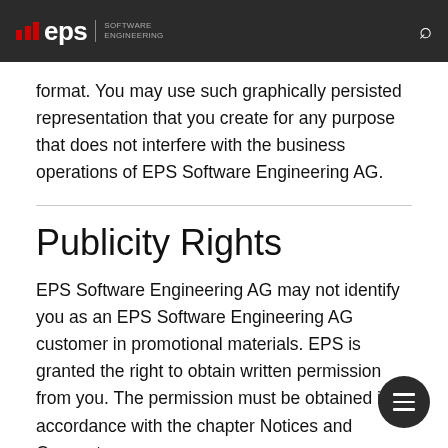eps SOFTWARE ENGINEERING
format. You may use such graphically persisted representation that you create for any purpose that does not interfere with the business operations of EPS Software Engineering AG.
Publicity Rights
EPS Software Engineering AG may not identify you as an EPS Software Engineering AG customer in promotional materials. EPS is granted the right to obtain written permission from you. The permission must be obtained in accordance with the chapter Notices and Consents.